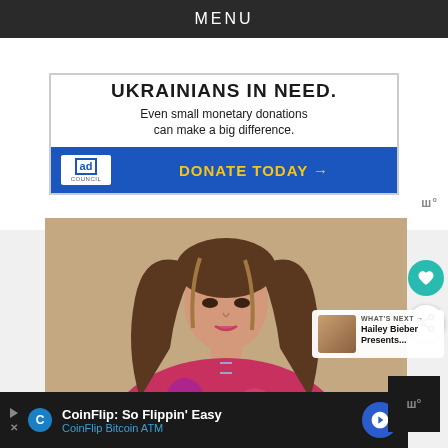MENU
[Figure (infographic): Ad Council banner: 'UKRAINIANS IN NEED. Even small monetary donations can make a big difference. DONATE TODAY →' on blue background with Ad Council logo]
[Figure (photo): Portrait photo of a woman with long brown highlighted hair wearing a red floral outfit]
WHAT'S NEXT → Hailey Bieber Presents...
CoinFlip: So Flippin' Easy CoinFlip Bitcoin ATM